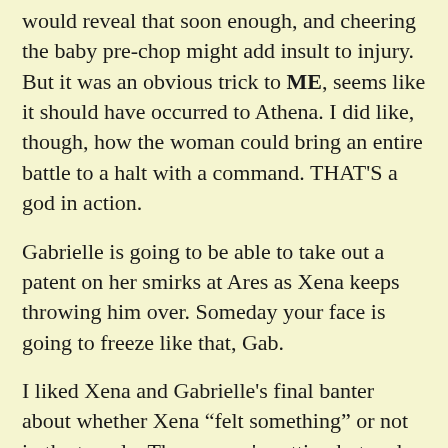would reveal that soon enough, and cheering the baby pre-chop might add insult to injury. But it was an obvious trick to ME, seems like it should have occurred to Athena. I did like, though, how the woman could bring an entire battle to a halt with a command. THAT'S a god in action.
Gabrielle is going to be able to take out a patent on her smirks at Ares as Xena keeps throwing him over. Someday your face is going to freeze like that, Gab.
I liked Xena and Gabrielle's final banter about whether Xena "felt something" or not in the temple. The woman's getting hot and heavy with a god who oozes hormones - who WOULDN'T feel something, never mind the past those two have had? But Xena and Gabrielle have a rousing good game of cat and mouse with the confession.
HIGHLIGHTS